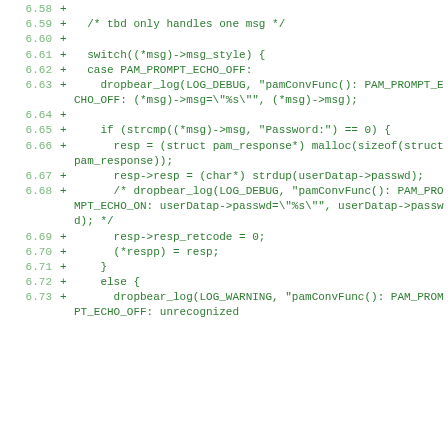[Figure (screenshot): Code diff view showing C source code lines 6.58-6.73, green monospace font on white background, with line numbers on left and + diff markers indicating added lines.]